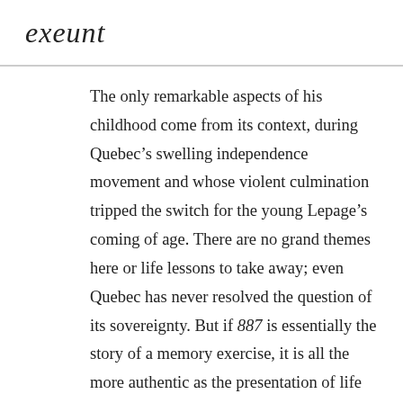exeunt
The only remarkable aspects of his childhood come from its context, during Quebec’s swelling independence movement and whose violent culmination tripped the switch for the young Lepage’s coming of age. There are no grand themes here or life lessons to take away; even Quebec has never resolved the question of its sovereignty. But if 887 is essentially the story of a memory exercise, it is all the more authentic as the presentation of life as it is lived, in the moment, without much time to connect the dots.